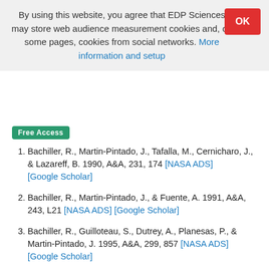By using this website, you agree that EDP Sciences may store web audience measurement cookies and, on some pages, cookies from social networks. More information and setup
Free Access
Bachiller, R., Martin-Pintado, J., Tafalla, M., Cernicharo, J., & Lazareff, B. 1990, A&A, 231, 174 [NASA ADS] [Google Scholar]
Bachiller, R., Martin-Pintado, J., & Fuente, A. 1991, A&A, 243, L21 [NASA ADS] [Google Scholar]
Bachiller, R., Guilloteau, S., Dutrey, A., Planesas, P., & Martin-Pintado, J. 1995, A&A, 299, 857 [NASA ADS] [Google Scholar]
Benedettini, M., Viti, S., Giannini, T., et al. 2002, A&A, 395, 657 [NASA ADS] [CrossRef] [EDP Sciences] [Google Scholar]
Benedettini, M., Busquet, G., Lefloch, B., et al. 2012,